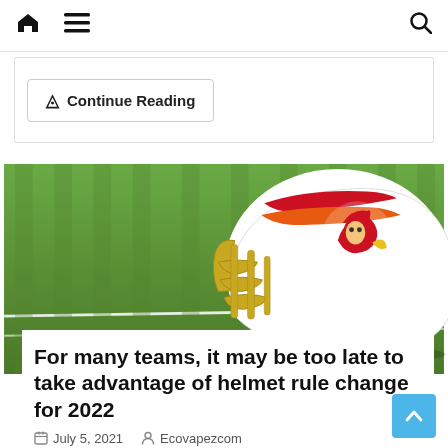🏠 ☰ 🔍
Continue Reading
[Figure (photo): A white Tampa Bay Buccaneers retro football helmet with red and orange logo and gold face mask, resting on green football field turf with white yard lines visible.]
For many teams, it may be too late to take advantage of helmet rule change for 2022
July 5, 2021  Ecovapezcom